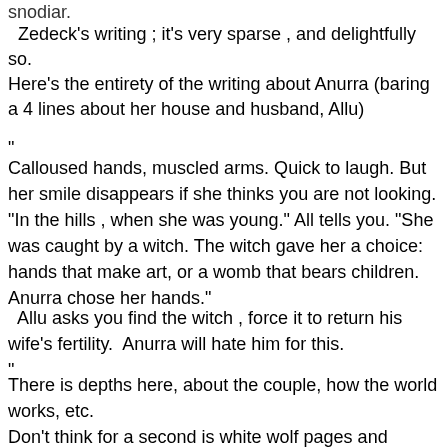snodiar.
Zedeck's writing ; it's very sparse , and delightfully so.
Here's the entirety of the writing about Anurra (baring a 4 lines about her house and husband, Allu)
"
Calloused hands, muscled arms. Quick to laugh. But her smile disappears if she thinks you are not looking.
"In the hills , when she was young." All tells you. "She was caught by a witch. The witch gave her a choice: hands that make art, or a womb that bears children. Anurra chose her hands."
Allu asks you find the witch , force it to return his wife's fertility.  Anurra will hate him for this.
"
There is depths here, about the couple, how the world works, etc.
Don't think for a second is white wolf pages and pages of fiction that drip feeds you actual material. This is one of the